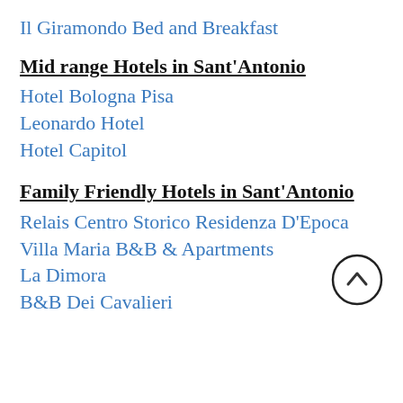Il Giramondo Bed and Breakfast
Mid range Hotels in Sant'Antonio
Hotel Bologna Pisa
Leonardo Hotel
Hotel Capitol
Family Friendly Hotels in Sant'Antonio
Relais Centro Storico Residenza D'Epoca
Villa Maria B&B & Apartments
La Dimora
B&B Dei Cavalieri
[Figure (other): Circular back-to-top button with an upward chevron arrow]